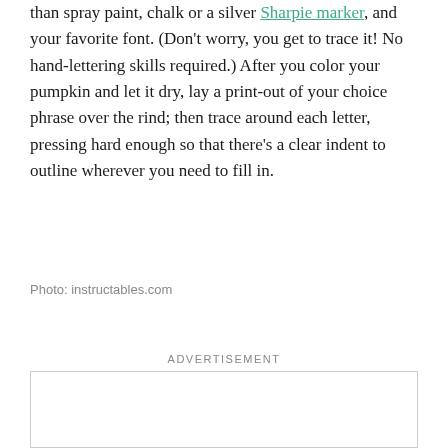than spray paint, chalk or a silver Sharpie marker, and your favorite font. (Don't worry, you get to trace it! No hand-lettering skills required.) After you color your pumpkin and let it dry, lay a print-out of your choice phrase over the rind; then trace around each letter, pressing hard enough so that there's a clear indent to outline wherever you need to fill in.
Photo: instructables.com
ADVERTISEMENT